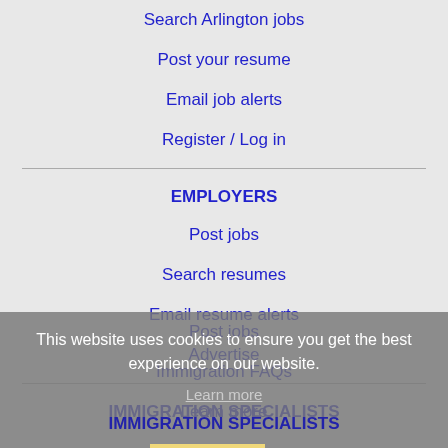Search Arlington jobs
Post your resume
Email job alerts
Register / Log in
EMPLOYERS
Post jobs
Search resumes
Email resume alerts
Advertise
IMMIGRATION SPECIALISTS
Post jobs
Immigration FAQs
Learn more
This website uses cookies to ensure you get the best experience on our website.
Learn more
Got it!